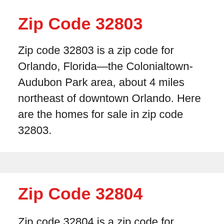Zip Code 32803
Zip code 32803 is a zip code for Orlando, Florida—the Colonialtown-Audubon Park area, about 4 miles northeast of downtown Orlando. Here are the homes for sale in zip code 32803.
Zip Code 32804
Zip code 32804 is a zip code for Orlando, Florida—the College Park area. Here are the homes for sale in zip code 32804.